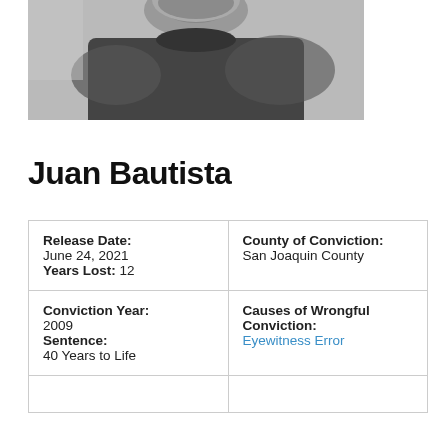[Figure (photo): Black and white close-up photo of a man (Juan Bautista) from chin/neck down showing a dark t-shirt, with a blurred background]
Juan Bautista
| Release Date:
June 24, 2021
Years Lost: 12 | County of Conviction:
San Joaquin County |
| Conviction Year:
2009
Sentence:
40 Years to Life | Causes of Wrongful Conviction:
Eyewitness Error |
|  |  |